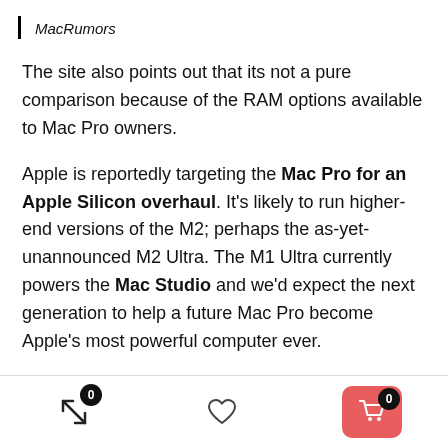MacRumors
The site also points out that its not a pure comparison because of the RAM options available to Mac Pro owners.
Apple is reportedly targeting the Mac Pro for an Apple Silicon overhaul. It's likely to run higher-end versions of the M2; perhaps the as-yet-unannounced M2 Ultra. The M1 Ultra currently powers the Mac Studio and we'd expect the next generation to help a future Mac Pro become Apple's most powerful computer ever.
Navigation bar with scroll, heart, and cart icons